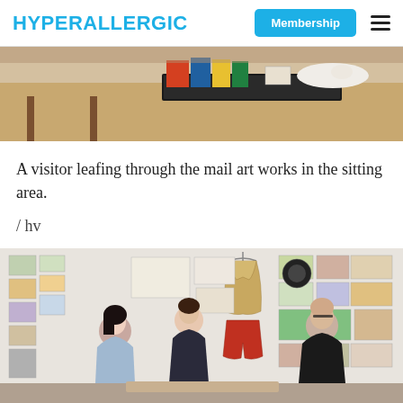HYPERALLERGIC
[Figure (photo): Close-up of a table with books, a black tray, and white gloves — items from a mail art archive or exhibition sitting area.]
A visitor leafing through the mail art works in the sitting area.
/ hv
[Figure (photo): Three people standing and conversing in a gallery space. The wall behind them is covered with mail art postcards, envelopes, and small artworks. A woven vest and red shorts hang on a hanger on the wall.]